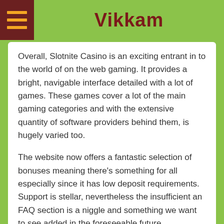Vikkam
Overall, Slotnite Casino is an exciting entrant in to the world of on the web gaming. It provides a bright, navigable interface detailed with a lot of games. These games cover a lot of the main gaming categories and with the extensive quantity of software providers behind them, is hugely varied too.
The website now offers a fantastic selection of bonuses meaning there's something for all especially since it has low deposit requirements. Support is stellar, nevertheless the insufficient an FAQ section is a niggle and something we want to see added in the foreseeable future.
Advantages
Fast support